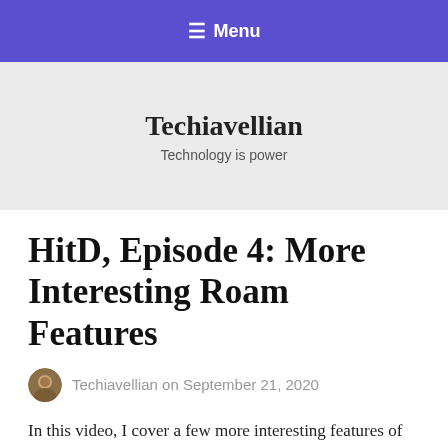≡ Menu
Techiavellian
Technology is power
HitD, Episode 4: More Interesting Roam Features
Techiavellian on September 21, 2020
In this video, I cover a few more interesting features of Roam Research that I find helpful for my note-taking. I mention how you can use attribute for